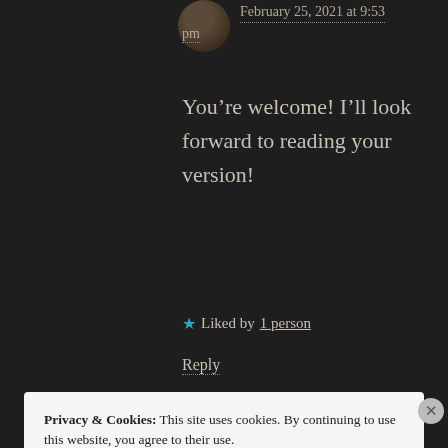February 25, 2021 at 9:53 pm
You’re welcome! I’ll look forward to reading your version!
★ Liked by 1 person
Reply
Privacy & Cookies: This site uses cookies. By continuing to use this website, you agree to their use.
To find out more, including how to control cookies, see here: Cookie Policy
Close and accept